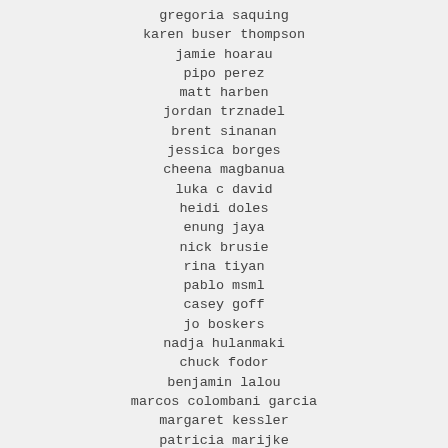gregoria saquing
karen buser thompson
jamie hoarau
pipo perez
matt harben
jordan trznadel
brent sinanan
jessica borges
cheena magbanua
luka c david
heidi doles
enung jaya
nick brusie
rina tiyan
pablo msml
casey goff
jo boskers
nadja hulanmaki
chuck fodor
benjamin lalou
marcos colombani garcia
margaret kessler
patricia marijke
kobir ahmed reza